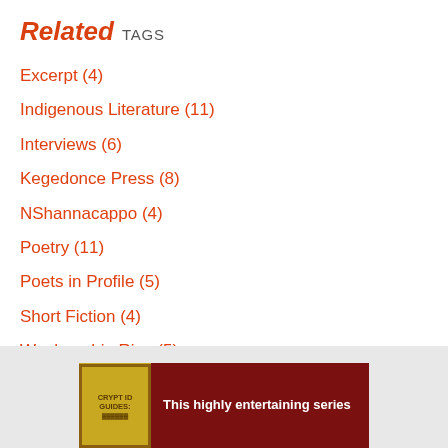Related TAGS
Excerpt (4)
Indigenous Literature (11)
Interviews (6)
Kegedonce Press (8)
NShannacappo (4)
Poetry (11)
Poets in Profile (5)
Short Fiction (4)
Waubgeshig Rice (5)
Writer in Residence (5)
[Figure (other): Advertisement banner with dark red background showing Cryptid Guides book series badge and text 'This highly entertaining series']